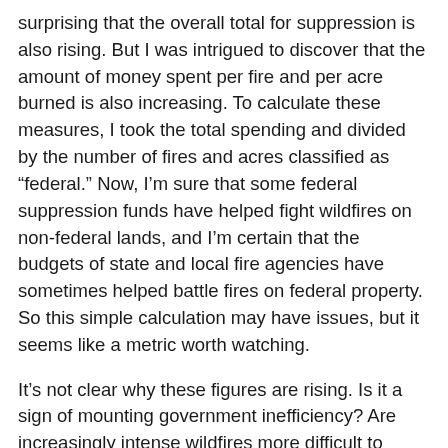surprising that the overall total for suppression is also rising. But I was intrigued to discover that the amount of money spent per fire and per acre burned is also increasing. To calculate these measures, I took the total spending and divided by the number of fires and acres classified as “federal.” Now, I’m sure that some federal suppression funds have helped fight wildfires on non-federal lands, and I’m certain that the budgets of state and local fire agencies have sometimes helped battle fires on federal property. So this simple calculation may have issues, but it seems like a metric worth watching.
It’s not clear why these figures are rising. Is it a sign of mounting government inefficiency? Are increasingly intense wildfires more difficult to control? Are fire managers using more expensive resources, such as air power? For more on the last question, see this Los Angeles Times story, part of a great 2008 series on wildfires by Bettina Boxall and Julie Cart, who won the Pulitzer Prize for their work. Aviation accounts for about one-fifth of the Forest Service’s suppression budget,